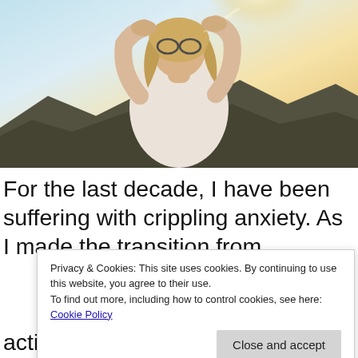[Figure (photo): A young woman with glasses, arms raised above her head, hair blowing, with sunlight behind her and dark hills in the background.]
For the last decade, I have been suffering with crippling anxiety. As I made the transition from
Privacy & Cookies: This site uses cookies. By continuing to use this website, you agree to their use.
To find out more, including how to control cookies, see here: Cookie Policy
actions or behaviour. This year, it started to